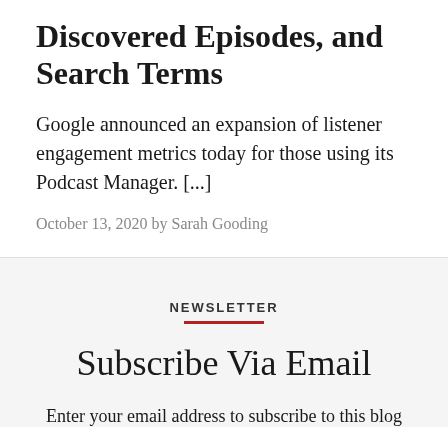Discovered Episodes, and Search Terms
Google announced an expansion of listener engagement metrics today for those using its Podcast Manager. [...]
October 13, 2020 by Sarah Gooding
NEWSLETTER
Subscribe Via Email
Enter your email address to subscribe to this blog